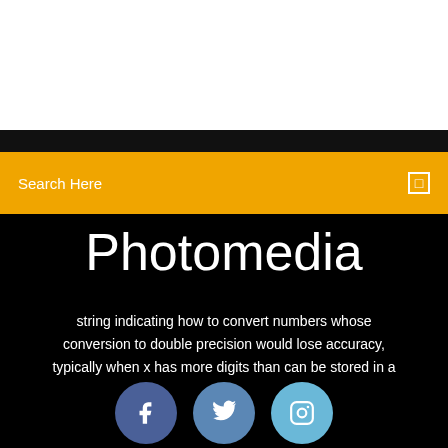[Figure (screenshot): White top area of a webpage]
Search Here
Photomedia
string indicating how to convert numbers whose conversion to double precision would lose accuracy, typically when x has more digits than can be stored in a
[Figure (infographic): Three social media icons: Facebook (dark blue circle), Twitter (medium blue circle), Instagram (light blue circle)]